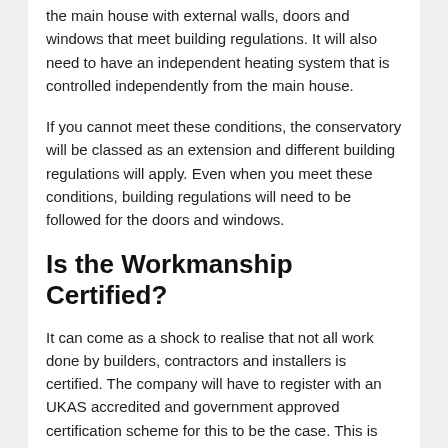the main house with external walls, doors and windows that meet building regulations. It will also need to have an independent heating system that is controlled independently from the main house.
If you cannot meet these conditions, the conservatory will be classed as an extension and different building regulations will apply. Even when you meet these conditions, building regulations will need to be followed for the doors and windows.
Is the Workmanship Certified?
It can come as a shock to realise that not all work done by builders, contractors and installers is certified. The company will have to register with an UKAS accredited and government approved certification scheme for this to be the case. This is where the issue with cowboy builders will generally come into play. This is why you need to check that the installer is a member of a certification scheme before you agree to hire them.